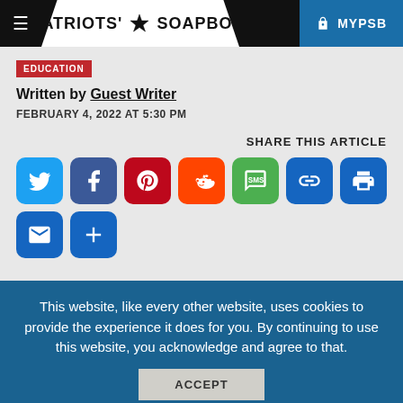PATRIOTS' SOAPBOX  MYPSB
EDUCATION
Written by Guest Writer
FEBRUARY 4, 2022 AT 5:30 PM
SHARE THIS ARTICLE
[Figure (infographic): Row of social share buttons: Twitter, Facebook, Pinterest, Reddit, SMS, Link, Print, Email, and a plus/more button]
This website, like every other website, uses cookies to provide the experience it does for you. By continuing to use this website, you acknowledge and agree to that.
ACCEPT